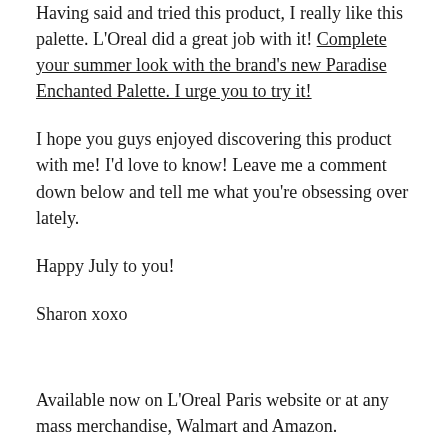Having said and tried this product, I really like this palette. L'Oreal did a great job with it! Complete your summer look with the brand's new Paradise Enchanted Palette. I urge you to try it!
I hope you guys enjoyed discovering this product with me! I'd love to know! Leave me a comment down below and tell me what you're obsessing over lately.
Happy July to you!
Sharon xoxo
Available now on L'Oreal Paris website or at any mass merchandise, Walmart and Amazon.